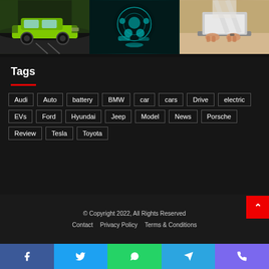[Figure (photo): Three photos in a row: a green Audi car on a road, cyan 3D car parts/engine components, and a person typing on a laptop]
Tags
Audi
Auto
battery
BMW
car
cars
Drive
electric
EVs
Ford
Hyundai
Jeep
Model
News
Porsche
Review
Tesla
Toyota
© Copyright 2022, All Rights Reserved
Contact   Privacy Policy   Terms & Conditions